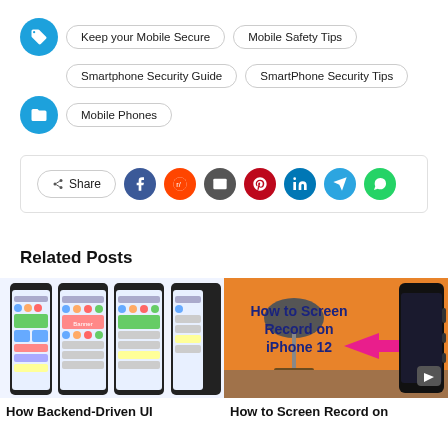Keep your Mobile Secure | Mobile Safety Tips | Smartphone Security Guide | SmartPhone Security Tips
Mobile Phones
[Figure (screenshot): Share bar with social media icons: Facebook, Reddit, Email, Pinterest, LinkedIn, Telegram, WhatsApp]
Related Posts
[Figure (screenshot): How Backend-Driven UI article thumbnail showing multiple phone screens with UI sections]
[Figure (screenshot): How to Screen Record on iPhone 12 article thumbnail with orange background and phone]
How Backend-Driven UI
How to Screen Record on